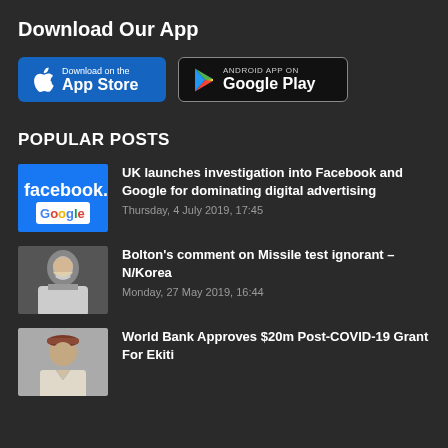Download Our App
[Figure (other): App Store and Google Play download buttons]
POPULAR POSTS
[Figure (photo): Thumbnail showing Facebook and Google logos]
UK launches investigation into Facebook and Google for dominating digital advertising
Thursday, 4 July 2019, 17:45
[Figure (photo): Thumbnail showing a man (Bolton) in a suit]
Bolton's comment on Missile test ignorant – N/Korea
Monday, 27 May 2019, 16:44
[Figure (photo): Thumbnail showing a man in traditional attire with a cap]
World Bank Approves $20m Post-COVID-19 Grant For Ekiti